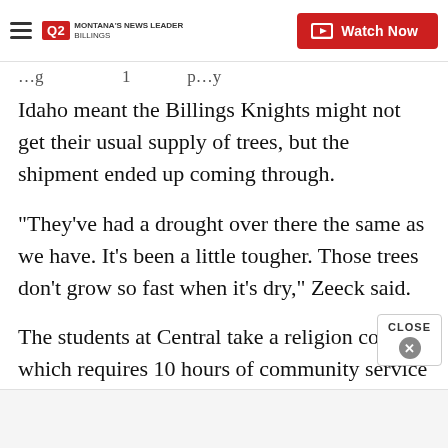Q2 Montana's News Leader Billings — Watch Now
…g … … … … … p…y
Idaho meant the Billings Knights might not get their usual supply of trees, but the shipment ended up coming through.
"They've had a drought over there the same as we have. It's been a little tougher. Those trees don't grow so fast when it's dry," Zeeck said.
The students at Central take a religion course, which requires 10 hours of community service per semester. Unloading the trees is a quick way to earn hours for some students.